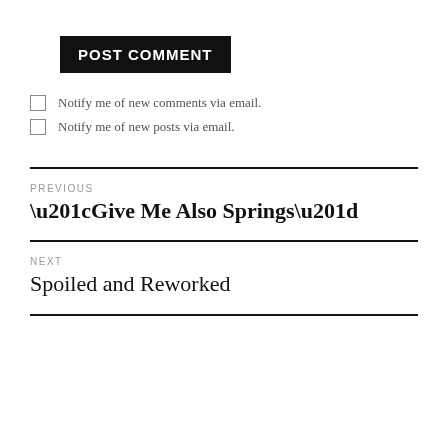POST COMMENT
Notify me of new comments via email.
Notify me of new posts via email.
PREVIOUS
“Give Me Also Springs”
NEXT
Spoiled and Reworked